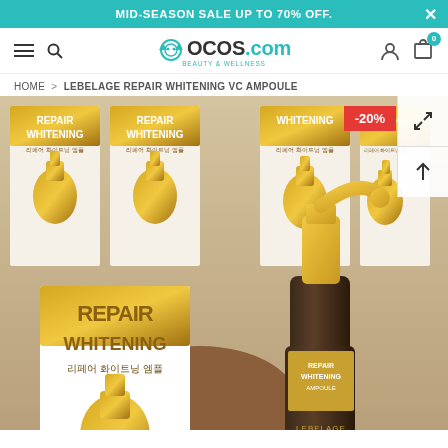MID-SEASON SALE UP TO 70% OFF.
[Figure (screenshot): OCOS.com Beauty & Wellness website navigation bar with hamburger menu, search icon, logo, user icon, and cart icon showing 0 items]
HOME > LEBELAGE REPAIR WHITENING VC AMPOULE
[Figure (photo): Product photo of Lebelage Repair Whitening VC Ampoule showing multiple product boxes and a glass dropper bottle. The boxes show 'REPAIR WHITENING' in gold text with Korean text. A -20% discount badge is shown in red in the top right corner.]